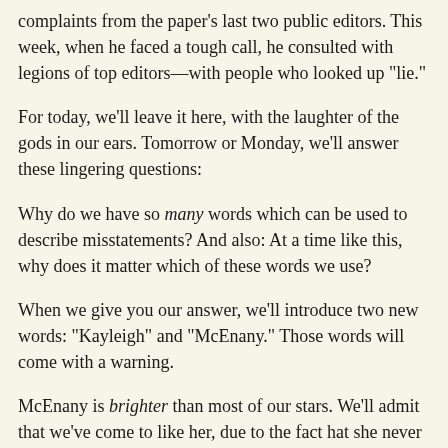complaints from the paper's last two public editors. This week, when he faced a tough call, he consulted with legions of top editors—with people who looked up "lie."
For today, we'll leave it here, with the laughter of the gods in our ears. Tomorrow or Monday, we'll answer these lingering questions:
Why do we have so many words which can be used to describe misstatements? And also: At a time like this, why does it matter which of these words we use?
When we give you our answer, we'll introduce two new words: "Kayleigh" and "McEnany." Those words will come with a warning.
McEnany is brighter than most of our stars. We'll admit that we've come to like her, due to the fact hat she never gets unpleasant, abrasive or mad.
McEnany is sharper than Us! That is a very important fact. It will be a key part of our answer.